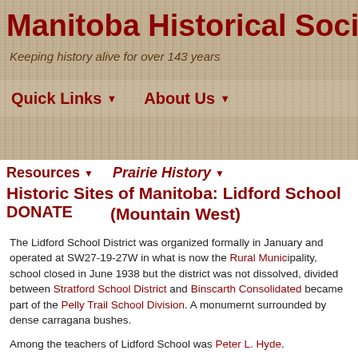Manitoba Historical Society
Keeping history alive for over 143 years
Quick Links  ▼       About Us  ▼
Resources ▼       Prairie History ▼
Historic Sites of Manitoba: Lidford School (Mountain West)
DONATE
The Lidford School District was organized formally in Janu... operated at SW27-19-27W in what is now the Rural Munic... school closed in June 1938 but the district was not dissolve... divided between Stratford School District and Binscarth Co... became part of the Pelly Trail School Division. A monumen... surrounded by dense carragana bushes.
Among the teachers of Lidford School was Peter L. Hyde.
[Figure (photo): Photograph of trees and a rounded stone monument or structure surrounded by dense carragana bushes at the Lidford School site.]